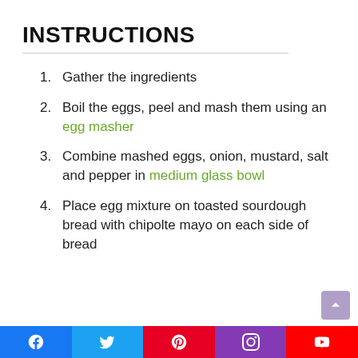INSTRUCTIONS
Gather the ingredients
Boil the eggs, peel and mash them using an egg masher
Combine mashed eggs, onion, mustard, salt and pepper in medium glass bowl
Place egg mixture on toasted sourdough bread with chipolte mayo on each side of bread